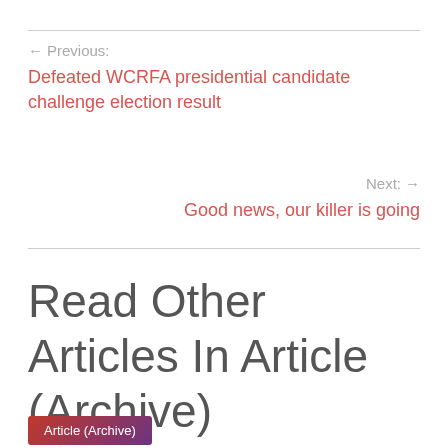← Previous:
Defeated WCRFA presidential candidate challenge election result
Next: →
Good news, our killer is going
Read Other Articles In Article (Archive)
Article (Archive)